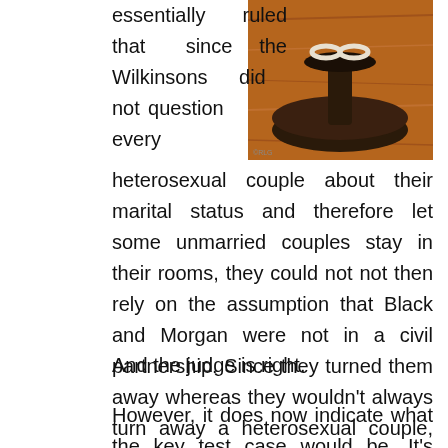[Figure (photo): A photo of wedding rings on a dark wooden ring holder/stand on a wooden surface.]
essentially ruled that since the Wilkinsons did not question every heterosexual couple about their marital status and therefore let some unmarried couples stay in their rooms, they could not not then rely on the assumption that Black and Morgan were not in a civil partnership. Since they turned them away whereas they wouldn't always turn away a heterosexual couple, they discriminated.
And the judge is right.
However, it does now indicate what the key test case would be. It's certainly clear that no B&B